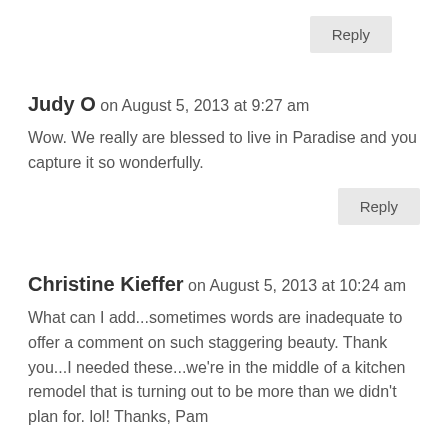Reply
Judy O on August 5, 2013 at 9:27 am
Wow. We really are blessed to live in Paradise and you capture it so wonderfully.
Reply
Christine Kieffer on August 5, 2013 at 10:24 am
What can I add...sometimes words are inadequate to offer a comment on such staggering beauty. Thank you...I needed these...we're in the middle of a kitchen remodel that is turning out to be more than we didn't plan for. lol! Thanks, Pam